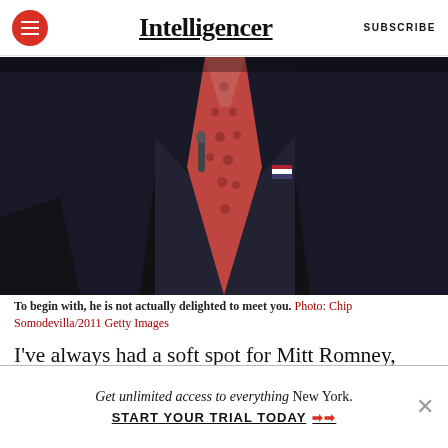Intelligencer | SUBSCRIBE
[Figure (photo): Close-up photo of a man in a dark suit with a red patterned tie and an American flag lapel pin, with a microphone visible. Background has blue lighting.]
To begin with, he is not actually delighted to meet you. Photo: Chip Somodevilla/2011 Getty Images
I've always had a soft spot for Mitt Romney, who strikes me, in a way I can't completely define, as a
Get unlimited access to everything New York. START YOUR TRIAL TODAY →